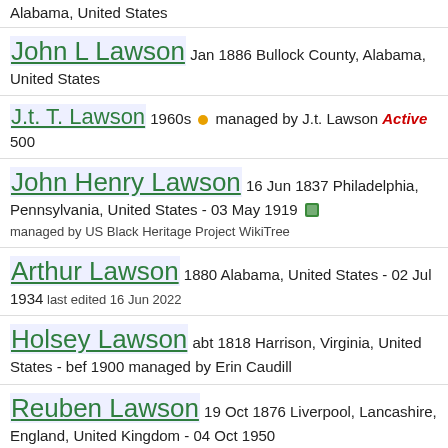Alabama, United States
John L Lawson Jan 1886 Bullock County, Alabama, United States
J.t. T. Lawson 1960s • managed by J.t. Lawson Active 500
John Henry Lawson 16 Jun 1837 Philadelphia, Pennsylvania, United States - 03 May 1919 managed by US Black Heritage Project WikiTree
Arthur Lawson 1880 Alabama, United States - 02 Jul 1934 last edited 16 Jun 2022
Holsey Lawson abt 1818 Harrison, Virginia, United States - bef 1900 managed by Erin Caudill
Reuben Lawson 19 Oct 1876 Liverpool, Lancashire, England, United Kingdom - 04 Oct 1950
Martha Phoebe Lawson 1872 Matlock, Victoria, Australia